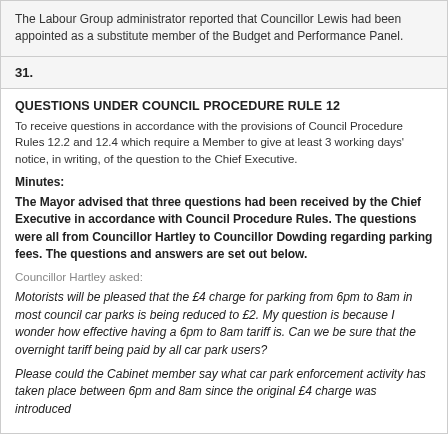The Labour Group administrator reported that Councillor Lewis had been appointed as a substitute member of the Budget and Performance Panel.
31.
QUESTIONS UNDER COUNCIL PROCEDURE RULE 12
To receive questions in accordance with the provisions of Council Procedure Rules 12.2 and 12.4 which require a Member to give at least 3 working days' notice, in writing, of the question to the Chief Executive.
Minutes:
The Mayor advised that three questions had been received by the Chief Executive in accordance with Council Procedure Rules. The questions were all from Councillor Hartley to Councillor Dowding regarding parking fees. The questions and answers are set out below.
Councillor Hartley asked:
Motorists will be pleased that the £4 charge for parking from 6pm to 8am in most council car parks is being reduced to £2. My question is because I wonder how effective having a 6pm to 8am tariff is. Can we be sure that the overnight tariff being paid by all car park users?
Please could the Cabinet member say what car park enforcement activity has taken place between 6pm and 8am since the original £4 charge was introduced